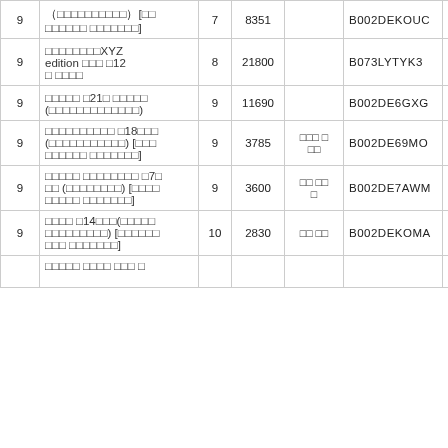| 9 | （□□□□□□□□□□）[□□ □□□□□□ □□□□□□□] | 7 | 8351 |  | B002DEKOUC | https://www.mnrate.c |
| 9 | □□□□□□□□XYZ edition □□□ □12□ □□□□ | 8 | 21800 |  | B073LYTYK3 | https://www.mnrate.c |
| 9 | □□□□□ □21□ □□□□□ (□□□□□□□□□□□□□) | 9 | 11690 |  | B002DE6GXG | https://www.mnrate.c |
| 9 | □□□□□□□□□□ □18□□□ (□□□□□□□□□□□) [□□□ □□□□□□ □□□□□□□] | 9 | 3785 | □□□ □ □□ | B002DE69MO | https://www.mnrate.c |
| 9 | □□□□□ □□□□□□□□ □7□ □□ (□□□□□□□□) [□□□□ □□□□□ □□□□□□□] | 9 | 3600 | □□ □□ □ | B002DE7AWM | https://www.mnrate.c |
| 9 | □□□□ □14□□□(□□□□□ □□□□□□□□□) [□□□□□□ □□□ □□□□□□□] | 10 | 2830 | □□ □□ | B002DEKOMA | https://www.mnrate.c |
|  | □□□□□ □□□□ □□□ □ |  |  |  |  |  |